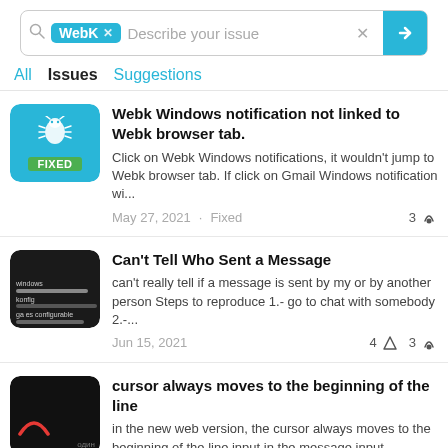[Figure (screenshot): Search bar with 'WebK' tag/chip, placeholder text 'Describe your issue', an X clear button, and a blue arrow submit button]
All  Issues  Suggestions
Webk Windows notification not linked to Webk browser tab.
Click on Webk Windows notifications, it wouldn't jump to Webk browser tab. If click on Gmail Windows notification wi...
May 27, 2021 · Fixed  3
Can't Tell Who Sent a Message
can't really tell if a message is sent by my or by another person Steps to reproduce 1.- go to chat with somebody 2.-...
Jun 15, 2021  4  3
cursor always moves to the beginning of the line
in the new web version, the cursor always moves to the beginning of the line input in the message input window,...
Jun 16, 2021  3